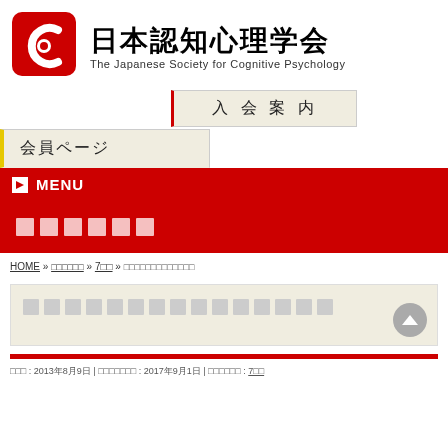[Figure (logo): Japanese Society for Cognitive Psychology logo with red circular P/C icon, Japanese title 日本認知心理学会, and English subtitle The Japanese Society for Cognitive Psychology]
入 会 案 内
会員ページ
MENU
□□□□□□
HOME » □□□□□□ » 7□□ » □□□□□□□□□□□□□
□□□□□□□□□□□□□□□
□□□ : 2013年8月9日 | □□□□□□□ : 2017年9月1日 | □□□□□□ : 7□□